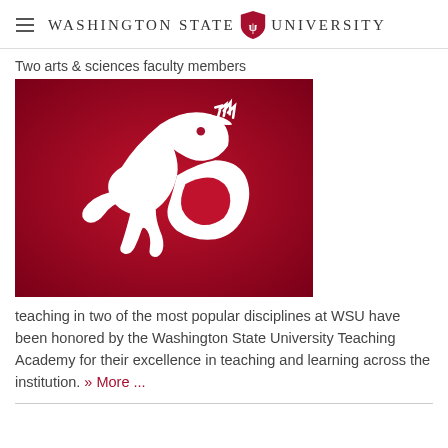Washington State University
Two arts & sciences faculty members
[Figure (logo): Washington State University Cougar logo on a red gradient background — white Cougar head silhouette centered on crimson/dark red background]
teaching in two of the most popular disciplines at WSU have been honored by the Washington State University Teaching Academy for their excellence in teaching and learning across the institution. » More ...